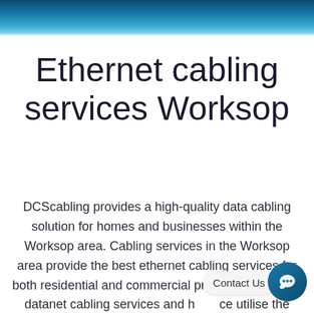[Figure (illustration): Teal and dark blue gradient header banner spanning the full width at the top of the page]
Ethernet cabling services Worksop
DCScabling provides a high-quality data cabling solution for homes and businesses within the Worksop area. Cabling services in the Worksop area provide the best ethernet cabling services for both residential and commercial premises. Worksop datanet cabling services and h ce utilise the most current technology on the ma when installing into homes or business properties